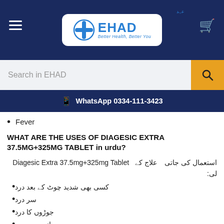[Figure (logo): EHAD - Better Health, Better You logo with medical cross icon on dark navy blue header bar]
[Figure (screenshot): Search bar with 'Search in EHAD' placeholder and orange search button]
WhatsApp 0334-111-3423
Fever
WHAT ARE THE USES OF DIAGESIC EXTRA 37.5MG+325MG TABLET in urdu?
Diagesic Extra 37.5mg+325mg Tablet کے علاج کی جاتی استعمال لی:
کسی بھی شدید چوٹ کے بعد درد
سر درد
جوڑوں کا درد
دانت میں درد
خ